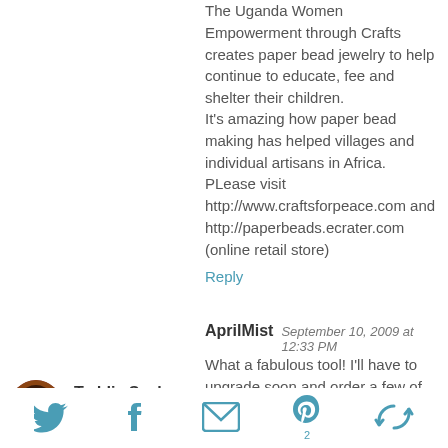The Uganda Women Empowerment through Crafts creates paper bead jewelry to help continue to educate, fee and shelter their children.
It's amazing how paper bead making has helped villages and individual artisans in Africa. PLease visit http://www.craftsforpeace.com and http://paperbeads.ecrater.com (online retail store)
Reply
AprilMist  September 10, 2009 at 12:33 PM
What a fabulous tool! I'll have to upgrade soon and order a few of these for my handmade paper bead jewelry. Great ideat!
Reply
Teddie Seeley  March 8, 2011 at 8:48 AM
[Figure (infographic): Social sharing icons bar: Twitter bird, Facebook f, email envelope, Pinterest P with count 2, and a circular arrow icon]